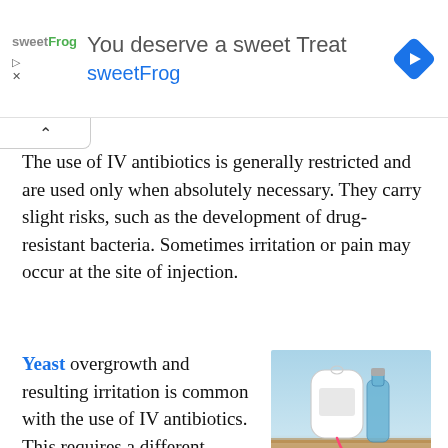[Figure (infographic): Advertisement banner for sweetFrog with logo, headline 'You deserve a sweet Treat', subheading 'sweetFrog', and a blue navigation diamond icon.]
The use of IV antibiotics is generally restricted and are used only when absolutely necessary. They carry slight risks, such as the development of drug-resistant bacteria. Sometimes irritation or pain may occur at the site of injection.
Yeast overgrowth and resulting irritation is common with the use of IV antibiotics. This requires a different
[Figure (photo): Photo of IV antibiotics supplies including a blue glass bottle, white plastic IV bag, and IV tubing with needle on a wooden surface with blue background.]